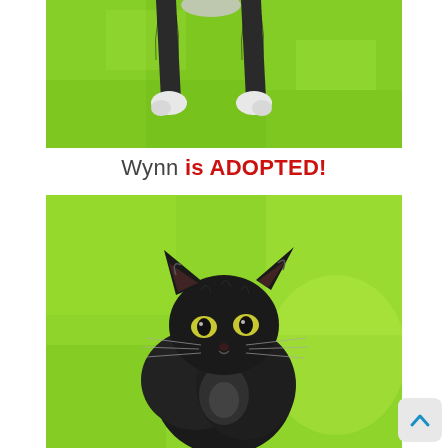[Figure (photo): Close-up photo of a cat's legs and white paws on a bright green fuzzy background, viewed from above. The legs appear to belong to a tuxedo or dark-colored kitten.]
Wynn is ADOPTED!
[Figure (photo): A small black fluffy kitten sitting upright on a bright green background, looking directly at the camera with wide yellow-green eyes, ears perked up and whiskers visible.]